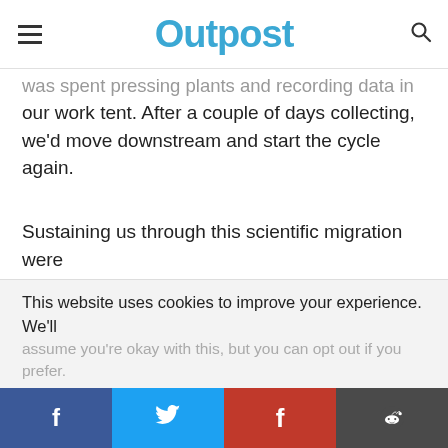Outpost
was spent pressing plants and recording data in our work tent. After a couple of days collecting, we'd move downstream and start the cycle again.
Sustaining us through this scientific migration were the excellent dehydrated meals Roger had cooked before leaving Ottawa. Obscene portions of pasta, minestrone stew, chicken tikka masala and even chocolate cake kept us fuelled and moving, even as some of us shed a few pounds. If we got lucky and our occasional moments of downtime coincided
This website uses cookies to improve your experience. We'll assume you're okay with this, but you can opt out if you prefer.